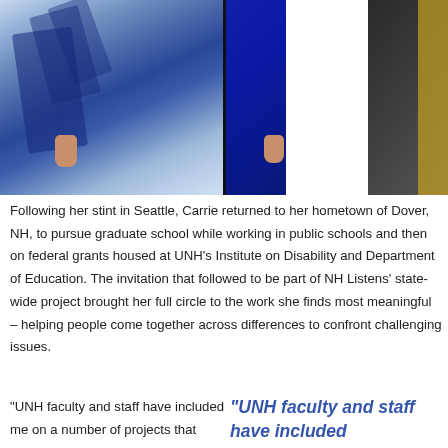[Figure (photo): Photo of people wearing academic graduation robes (blue/grey doctoral robes with stripes), showing torsos and hands, split into two panels side by side.]
Following her stint in Seattle, Carrie returned to her hometown of Dover, NH, to pursue graduate school while working in public schools and then on federal grants housed at UNH's Institute on Disability and Department of Education. The invitation that followed to be part of NH Listens' state-wide project brought her full circle to the work she finds most meaningful – helping people come together across differences to confront challenging issues.
“UNH faculty and staff have included me on a number of projects that
“UNH faculty and staff have included